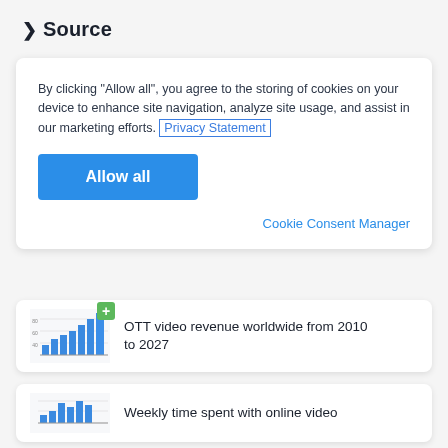❯ Source
By clicking "Allow all", you agree to the storing of cookies on your device to enhance site navigation, analyze site usage, and assist in our marketing efforts. Privacy Statement
Allow all
Cookie Consent Manager
[Figure (bar-chart): Small thumbnail of OTT video revenue bar chart with green plus icon]
OTT video revenue worldwide from 2010 to 2027
[Figure (bar-chart): Small thumbnail of weekly time spent bar chart]
Weekly time spent with online video